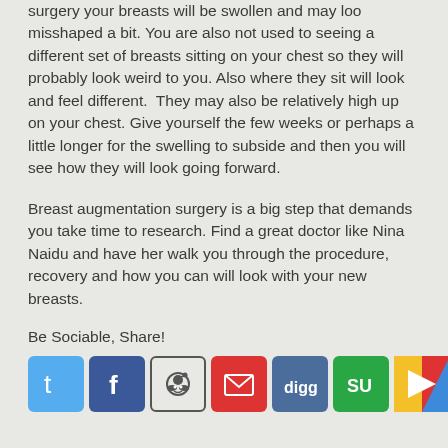surgery your breasts will be swollen and may loo misshaped a bit. You are also not used to seeing a different set of breasts sitting on your chest so they will probably look weird to you. Also where they sit will look and feel different. They may also be relatively high up on your chest. Give yourself the few weeks or perhaps a little longer for the swelling to subside and then you will see how they will look going forward.
Breast augmentation surgery is a big step that demands you take time to research. Find a great doctor like Nina Naidu and have her walk you through the procedure, recovery and how you can will look with your new breasts.
Be Sociable, Share!
[Figure (other): Row of social media sharing icons: Twitter, Facebook, Reddit, Mail, Digg, StumbleUpon, Google, LinkedIn, and a green MORE button]